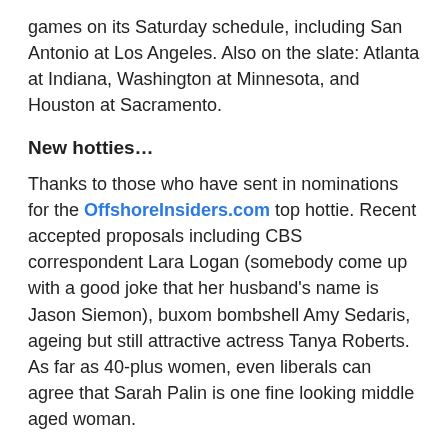games on its Saturday schedule, including San Antonio at Los Angeles. Also on the slate: Atlanta at Indiana, Washington at Minnesota, and Houston at Sacramento.
New hotties…
Thanks to those who have sent in nominations for the OffshoreInsiders.com top hottie. Recent accepted proposals including CBS correspondent Lara Logan (somebody come up with a good joke that her husband's name is Jason Siemon), buxom bombshell Amy Sedaris, ageing but still attractive actress Tanya Roberts. As far as 40-plus women, even liberals can agree that Sarah Palin is one fine looking middle aged woman.
Also on the schedule . . .
Francisco Liriano (4-3, 3.83 ERA) will be looking to continue his impressive comeback when he pitches in Oakland for the Twins on Saturday night. Also on the American League schedule: Toronto at the Yankees (at 1:05pm ET), Baltimore at Tampa Bay, Seattle at Cleveland, Kansas City at Detroit, and Texas at the Angels.